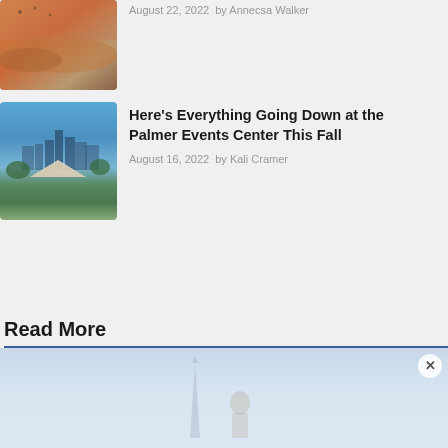[Figure (photo): Desert landscape with sand dunes and birds, warm orange/brown tones]
August 22, 2022  by Annecsa Walker
[Figure (photo): City skyline with trees and a tent structure in the foreground, blue sky]
Here's Everything Going Down at the Palmer Events Center This Fall
August 16, 2022  by Kali Cramer
Read More
[Figure (photo): Faded image with monument/obelisk and figure silhouette against a light blue-grey sky background, with a close (X) button in top right]